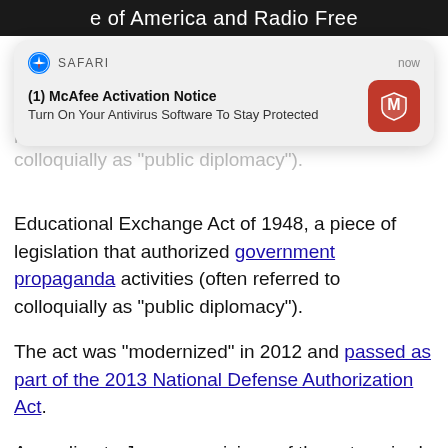e of America and Radio Free
[Figure (screenshot): iOS Safari browser notification popup: '(1) McAfee Activation Notice — Turn On Your Antivirus Software To Stay Protected' with McAfee logo icon, labeled SAFARI and timestamped 'now']
Also known formally as the U.S. Information and Educational Exchange Act of 1948, a piece of legislation that authorized government propaganda activities (often referred to colloquially as "public diplomacy").
The act was "modernized" in 2012 and passed as part of the 2013 National Defense Authorization Act.
According to Jones, provisions of the act expired last week, ironically at the same time that mass layoffs across what can only be described accurately as Left-wing media companies. He theorized that the U.S. government, under Obama, authorized funding that went to many of the media outlets now laying off thousands of reporters.